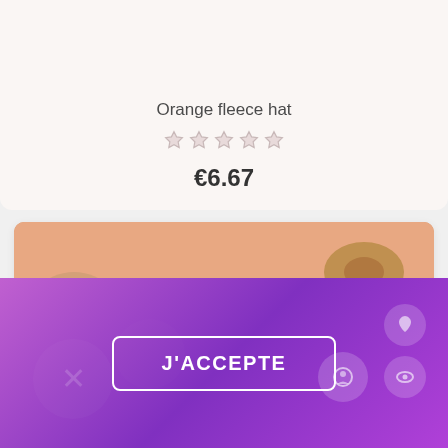Orange fleece hat
★★★★★ (empty stars rating)
€6.67
[Figure (photo): Woman wearing a black knit beanie hat with pom-pom, standing in front of an elegant interior with warm pink and gold tones]
J'ACCEPTE